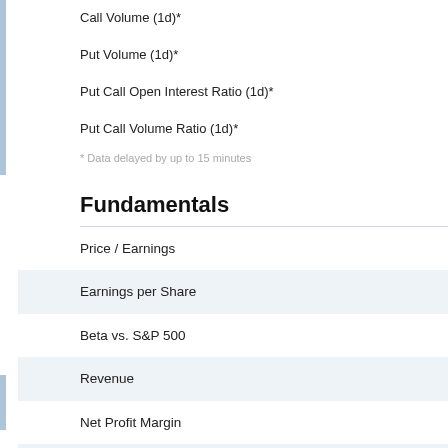Call Volume (1d)*
Put Volume (1d)*
Put Call Open Interest Ratio (1d)*
Put Call Volume Ratio (1d)*
* Data delayed by up to 15 minutes
Fundamentals
Price / Earnings
Earnings per Share
Beta vs. S&P 500
Revenue
Net Profit Margin
Return on Equity